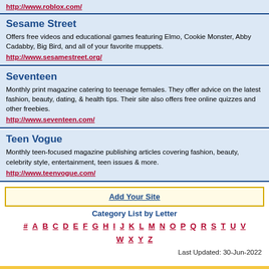http://www.roblox.com/
Sesame Street
Offers free videos and educational games featuring Elmo, Cookie Monster, Abby Cadabby, Big Bird, and all of your favorite muppets.
http://www.sesamestreet.org/
Seventeen
Monthly print magazine catering to teenage females. They offer advice on the latest fashion, beauty, dating, & health tips. Their site also offers free online quizzes and other freebies.
http://www.seventeen.com/
Teen Vogue
Monthly teen-focused magazine publishing articles covering fashion, beauty, celebrity style, entertainment, teen issues & more.
http://www.teenvogue.com/
Add Your Site
Category List by Letter
# A B C D E F G H I J K L M N O P Q R S T U V W X Y Z
Last Updated: 30-Jun-2022